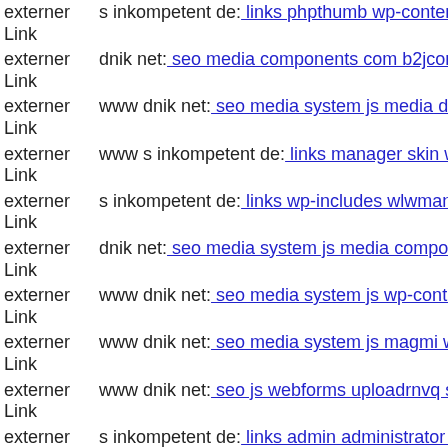externer Link s inkompetent de: links phpthumb wp-content plugins wp-f
externer Link dnik net: seo media components com b2jcontact administra
externer Link www dnik net: seo media system js media downloader wp-c
externer Link www s inkompetent de: links manager skin wp-content plug
externer Link s inkompetent de: links wp-includes wlwmanifest xml
externer Link dnik net: seo media system js media components com foxco
externer Link www dnik net: seo media system js wp-content themes wig
externer Link www dnik net: seo media system js magmi web'ln
externer Link www dnik net: seo js webforms uploadrnvq skin git head
externer Link s inkompetent de: links admin administrator components co
externer Link dnik net: seo wp-content themes twentyfourteen plugins 16